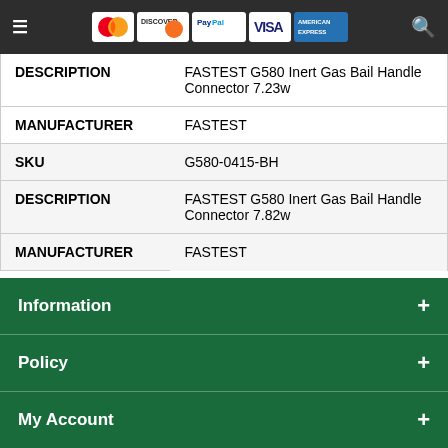Menu | MasterCard | Discover | PayPal | VISA | American Express | Search
| DESCRIPTION | FASTEST G580 Inert Gas Bail Handle Connector 7.23w |
| MANUFACTURER | FASTEST |
| SKU | G580-0415-BH |
| DESCRIPTION | FASTEST G580 Inert Gas Bail Handle Connector 7.82w |
| MANUFACTURER | FASTEST |
FST-G580_Bail_Handles.pdf
Information
Policy
My Account